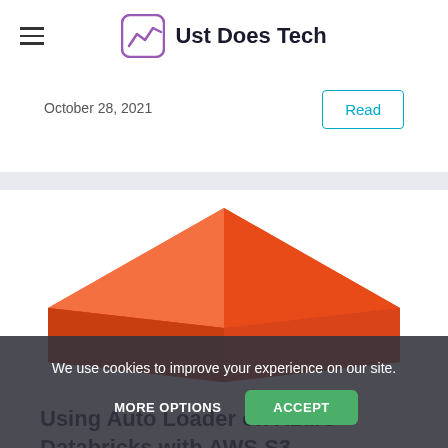Ust Does Tech
October 28, 2021
Read
[Figure (illustration): Databricks logo / isometric red diamond shape illustration on white background]
Using Auto Loader on Azure Databricks with AWS S3
Previously we covered how to use the Auto Loader functionality in Databricks to easily consume from AWS S3 into Azure hosted data platform. The setup process and configuration for Auto
We use cookies to improve your experience on our site.
MORE OPTIONS   ACCEPT